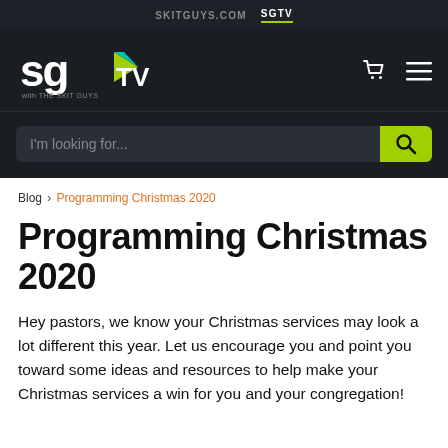SKITGUYS.COM   SGTV
[Figure (logo): SGTV with The Skit Guys logo — stylized 'sg' in white and green with a green play-button arrow, and 'TV' text, on dark background. Cart icon and hamburger menu on the right.]
I'm looking for...
Blog > Programming Christmas 2020
Programming Christmas 2020
Hey pastors, we know your Christmas services may look a lot different this year. Let us encourage you and point you toward some ideas and resources to help make your Christmas services a win for you and your congregation!